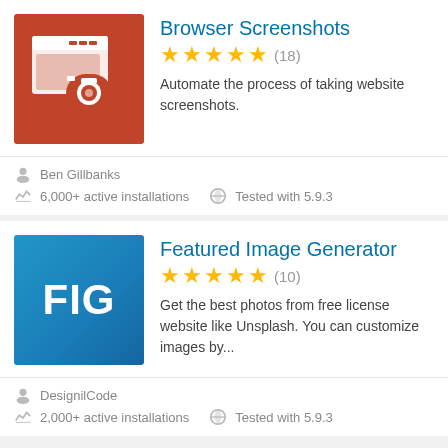[Figure (screenshot): Plugin listing card for Browser Screenshots showing orange icon with browser and camera, 5 stars (18 ratings), description text, author Ben Gillbanks, 6,000+ active installations, Tested with 5.9.3]
Browser Screenshots
Automate the process of taking website screenshots.
Ben Gillbanks
6,000+ active installations   Tested with 5.9.3
[Figure (screenshot): Plugin listing card for Featured Image Generator showing blue FIG logo icon, 5 stars (10 ratings), description text, author DesignilCode]
Featured Image Generator
Get the best photos from free license website like Unsplash. You can customize images by...
DesignilCode
2,000+ active installations   Tested with 5.9.3